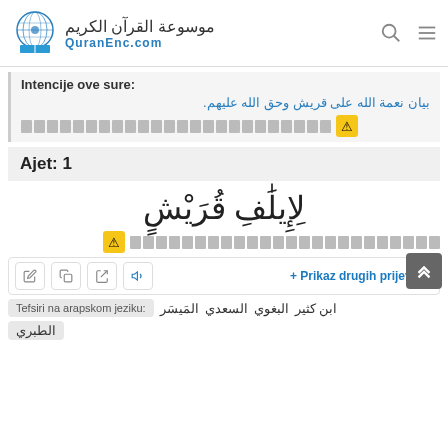QuranEnc.com
Intencije ove sure:
بيان نعمة الله على قريش وحق الله عليهم.
[placeholder Arabic text]
Ajet: 1
لِإِيلَٰفِ قُرَيْشٍ
[placeholder translation text]
+ Prikaz drugih prijevoda
Tefsiri na arapskom jeziku: المَيسَر السعدي البغوي ابن كثير
الطبري